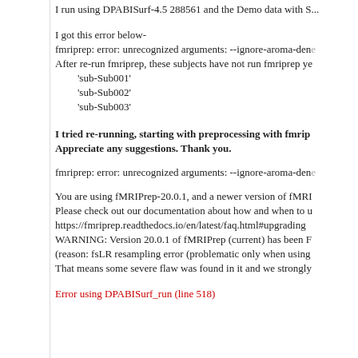I run using DPABISurf-4.5 288561 and the Demo data with S...
I got this error below-
fmriprep: error: unrecognized arguments: --ignore-aroma-den...
After re-run fmriprep, these subjects have not run fmriprep ye...
'sub-Sub001'
'sub-Sub002'
'sub-Sub003'
I tried re-running, starting with preprocessing with fmrip... Appreciate any suggestions. Thank you.
fmriprep: error: unrecognized arguments: --ignore-aroma-den...
You are using fMRIPrep-20.0.1, and a newer version of fMRI...
Please check out our documentation about how and when to u...
https://fmriprep.readthedocs.io/en/latest/faq.html#upgrading
WARNING: Version 20.0.1 of fMRIPrep (current) has been F...
(reason: fsLR resampling error (problematic only when using...
That means some severe flaw was found in it and we strongly...
Error using DPABISurf_run (line 518)